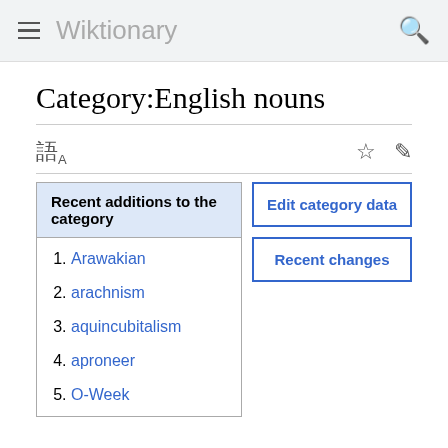Wiktionary
Category:English nouns
Recent additions to the category
Arawakian
arachnism
aquincubitalism
aproneer
O-Week